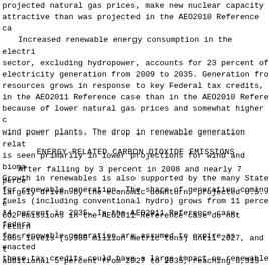projected natural gas prices, make new nuclear capacity attractive than was projected in the AEO2010 Reference ca Increased renewable energy consumption in the electri sector, excluding hydropower, accounts for 23 percent of electricity generation from 2009 to 2035. Generation fro resources grows in response to key Federal tax credits, in the AEO2011 Reference case than in the AEO2010 Refere because of lower natural gas prices and somewhat higher wind power plants. The drop in renewable generation rela is seen primarily in lower projections for wind and biom Growth in renewables is also supported by the many State for renewable generation. The share of generation coming fuels (including conventional hydro) grows from 11 perce 14 percent in 2035. In the AEO2011 Reference case, feder for renewable generation are assumed to expire as enacte these tax credits could have a large impact on renewable
ENERGY-RELATED CARBON DIOXIDE EMISSIONS
After falling by 3 percent in 2008 and nearly 7 perce largely driven by the economic downturn, projected U.S. CO2 emissions in the AEO2011 Reference case do not retur 2005 levels (5,980 million metric tons) until 2027, and additional 5 percent from 2027 to 2035, reaching 6,315 m tons in 2035 (Figure 13). Energyrelated CO2 emissions gr by 0.2 percent per year from 2005 to 2035. Emissions pe an average of 0.8 percent per year from 2005 to 2035, a demand for electricity and transportation fuels is modera energy prices, efficiency standards, State RPS requireme Federal CAFE standards.